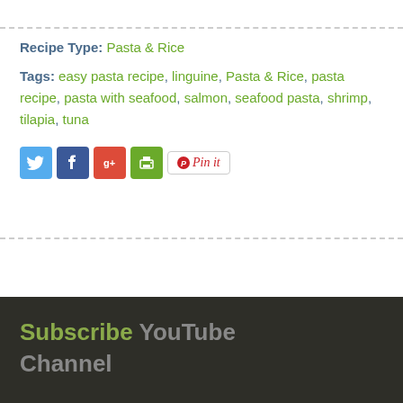Recipe Type: Pasta & Rice
Tags: easy pasta recipe, linguine, Pasta & Rice, pasta recipe, pasta with seafood, salmon, seafood pasta, shrimp, tilapia, tuna
[Figure (other): Social sharing icons: Twitter, Facebook, Google+, Print, and a Pinterest Pin It button]
Subscribe YouTube Channel